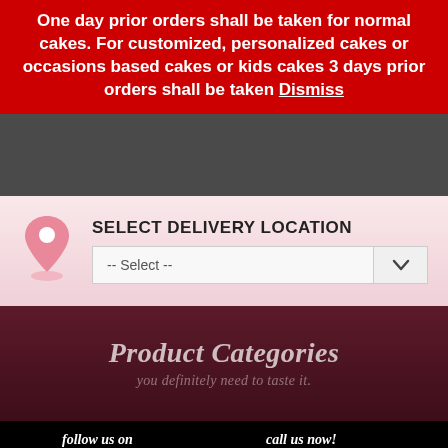One day prior orders shall be taken for normal cakes. For customized, personalized cakes or occasions based cakes or kids cakes 3 days prior orders shall be taken Dismiss
[Figure (other): Dark gray banner section, likely navigation header area]
SELECT DELIVERY LOCATION
[Figure (other): Pink location pin icon with circle base and inner white dot]
[Figure (other): Dropdown select box with text '-- Select --' and chevron arrow button on right]
Product Categories
you definitely need to taste it.
follow us on   call us now!   +91 70252 34935